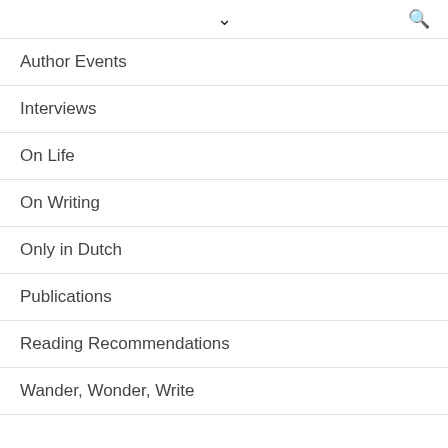▾ 🔍
Author Events
Interviews
On Life
On Writing
Only in Dutch
Publications
Reading Recommendations
Wander, Wonder, Write